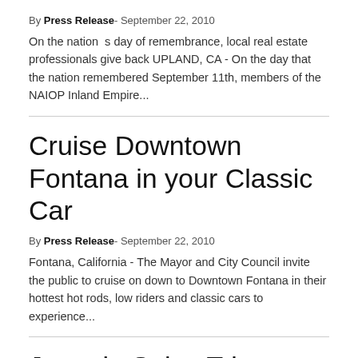By Press Release- September 22, 2010
On the nation s day of remembrance, local real estate professionals give back UPLAND, CA - On the day that the nation remembered September 11th, members of the NAIOP Inland Empire...
Cruise Downtown Fontana in your Classic Car
By Press Release- September 22, 2010
Fontana, California - The Mayor and City Council invite the public to cruise on down to Downtown Fontana in their hottest hot rods, low riders and classic cars to experience...
Jump in Sales Triggers Corona